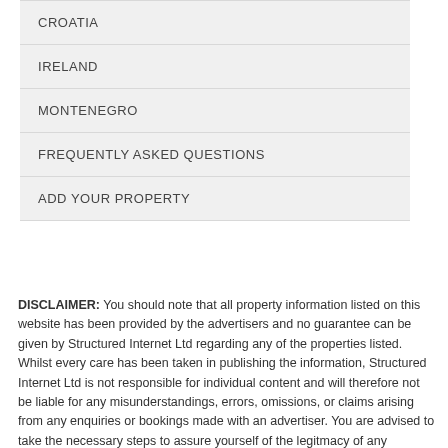CROATIA
IRELAND
MONTENEGRO
FREQUENTLY ASKED QUESTIONS
ADD YOUR PROPERTY
DISCLAIMER: You should note that all property information listed on this website has been provided by the advertisers and no guarantee can be given by Structured Internet Ltd regarding any of the properties listed. Whilst every care has been taken in publishing the information, Structured Internet Ltd is not responsible for individual content and will therefore not be liable for any misunderstandings, errors, omissions, or claims arising from any enquiries or bookings made with an advertiser. You are advised to take the necessary steps to assure yourself of the legitmacy of any information published before renting or buying a property and ensure all details, booking conditions, prices etc are confirmed by e-mail or in writing with the owner or vendor. Travel Insurance is essential and you should always ensure that you get adequate cover from a